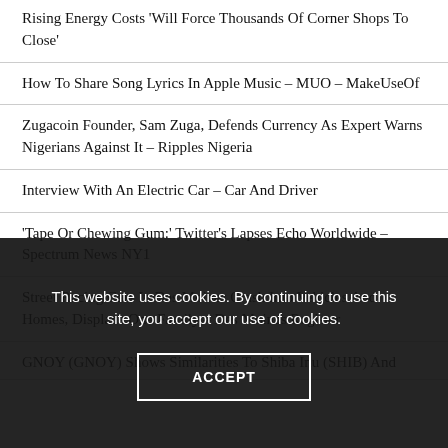Rising Energy Costs ‘Will Force Thousands Of Corner Shops To Close’
How To Share Song Lyrics In Apple Music – MUO – MakeUseOf
Zugacoin Founder, Sam Zuga, Defends Currency As Expert Warns Nigerians Against It – Ripples Nigeria
Interview With An Electric Car – Car And Driver
'Tape Or Chewing Gum:' Twitter's Lapses Echo Worldwide – Spectrum News NY1
Street Racing Cars In Des Moines Crash Into Vehicles And Homes, Displace One Family – Des Moines Register
GNOY (GNOY) Shows Similarities To Shiba Inu (SHIB) And…
This website uses cookies. By continuing to use this site, you accept our use of cookies.
ACCEPT